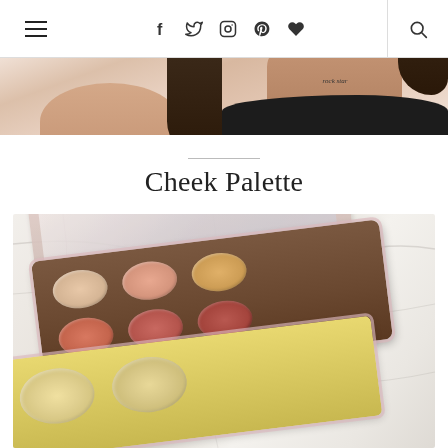Navigation bar with hamburger menu, social icons (Facebook, Twitter, Instagram, Pinterest, Heart), and search icon
[Figure (photo): Two side-by-side close-up photos of a woman's neck/collarbone area, with cursive text labels 'coral of the wild' and 'rock star' overlaid on each photo respectively]
Cheek Palette
[Figure (photo): Close-up photo of an open makeup cheek palette with brown pan containing 6 oval blush/bronzer shades (nude, peach, pink, coral tones) and a yellow/gold highlighter pan below, photographed on a marble surface]